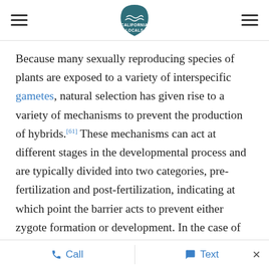California Locals logo with hamburger menu icons on left and right
Because many sexually reproducing species of plants are exposed to a variety of interspecific gametes, natural selection has given rise to a variety of mechanisms to prevent the production of hybrids.[61] These mechanisms can act at different stages in the developmental process and are typically divided into two categories, pre-fertilization and post-fertilization, indicating at which point the barrier acts to prevent either zygote formation or development. In the case of angiosperms and other pollinated species, pre-fertilization mechanisms can be further subdivided into two more categories, pre-pollination and post-
Call   Text   ×